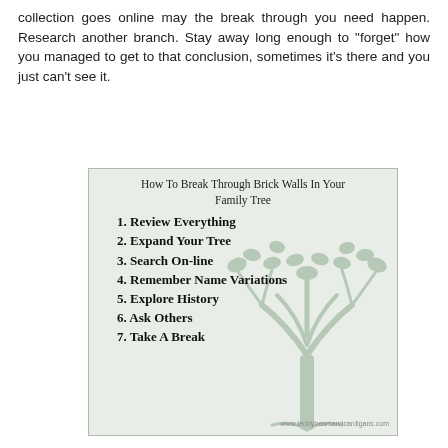collection goes online may the break through you need happen. Research another branch. Stay away long enough to "forget" how you managed to get to that conclusion, sometimes it's there and you just can't see it.
[Figure (infographic): Infographic with a family tree background listing: How To Break Through Brick Walls In Your Family Tree. 1. Review Everything 2. Expand Your Tree 3. Search On-line 4. Remember Name Variations 5. Explore History 6. Ask Others 7. Take A Break. URL: www.teddybearsandcardigans.com]